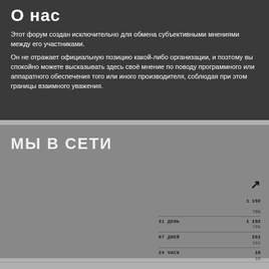О нас
Этот форум создан исключительно для обмена субъективными мнениями между его участниками.
Он не отражает официальную позицию какой-либо организации, и поэтому вы спокойно можете высказывать здесь своё мнение по поводу программного или аппаратного обеспечения того или иного производителя, соблюдая при этом границы взаимного уважения.
МЫ В СЕТИ
| Период | Значение 1 | Значение 2 |
| --- | --- | --- |
| 31 ДЕНЬ | 1 192 | 765 |
| 07 ДНЕЙ | 261 | 161 |
| 24 ЧАСА | 18 | 16 |
| СЕГОДНЯ | 1 | 1 |
| НА ЛИНИИ | 1 | 1 |